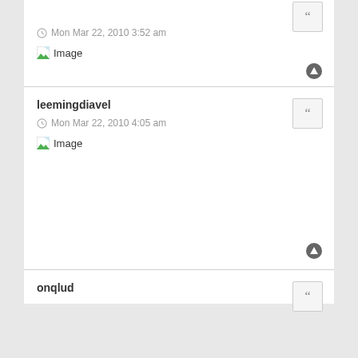Mon Mar 22, 2010 3:52 am
[Figure (other): Broken image placeholder labeled 'Image']
leemingdiavel
Mon Mar 22, 2010 4:05 am
[Figure (other): Broken image placeholder labeled 'Image']
onqlud